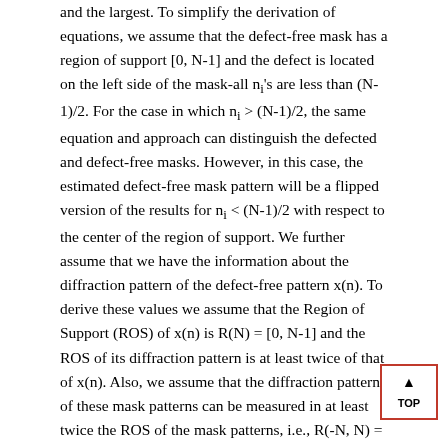and the largest. To simplify the derivation of equations, we assume that the defect-free mask has a region of support [0, N-1] and the defect is located on the left side of the mask-all nᵢ's are less than (N-1)/2. For the case in which nᵢ > (N-1)/2, the same equation and approach can distinguish the defected and defect-free masks. However, in this case, the estimated defect-free mask pattern will be a flipped version of the results for nᵢ < (N-1)/2 with respect to the center of the region of support. We further assume that we have the information about the diffraction pattern of the defect-free pattern x(n). To derive these values we assume that the Region of Support (ROS) of x(n) is R(N) = [0, N-1] and the ROS of its diffraction pattern is at least twice of that of x(n). Also, we assume that the diffraction pattern of these mask patterns can be measured in at least twice the ROS of the mask patterns, i.e., R(-N, N) = [-(N-1), (N-1)]. Finally, we assume that the width of a defect is less than the minimum width of